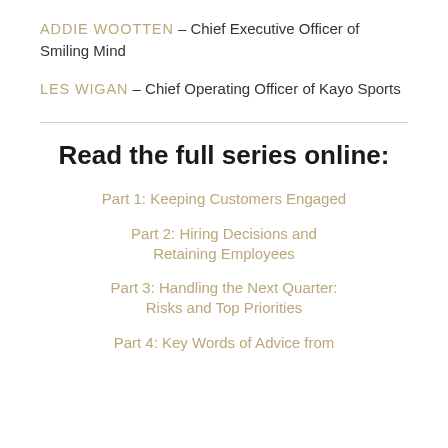ADDIE WOOTTEN – Chief Executive Officer of Smiling Mind
LES WIGAN – Chief Operating Officer of Kayo Sports
Read the full series online:
Part 1: Keeping Customers Engaged
Part 2: Hiring Decisions and Retaining Employees
Part 3: Handling the Next Quarter: Risks and Top Priorities
Part 4: Key Words of Advice from